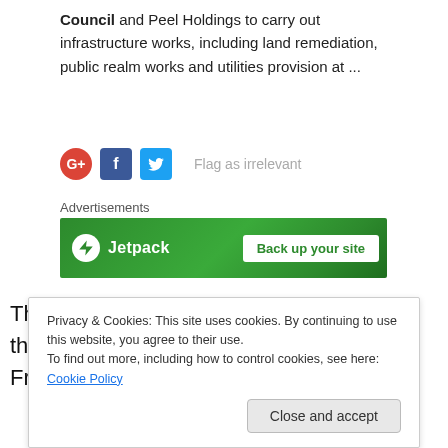Council and Peel Holdings to carry out infrastructure works, including land remediation, public realm works and utilities provision at ...
[Figure (infographic): Social sharing icons: Google+, Facebook, Twitter, and 'Flag as irrelevant' text link]
[Figure (infographic): Jetpack advertisement banner with lightning bolt icon and 'Back up your site' button]
There are times when we wonder whether there's a greater force at work (other than Frank Field). We say this
Privacy & Cookies: This site uses cookies. By continuing to use this website, you agree to their use.
To find out more, including how to control cookies, see here: Cookie Policy